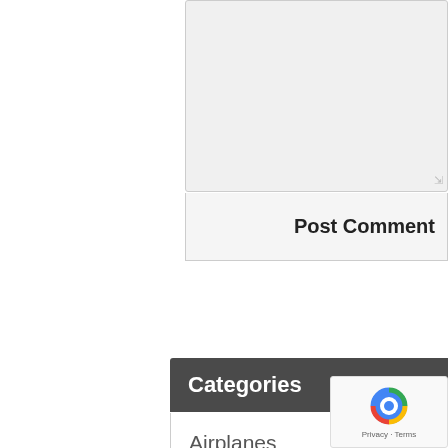[Figure (screenshot): Textarea input box (grayed out, partially visible)]
Post Comment
Categories
Airplanes
Announcements
Apparel
Bikes
Cars
Cellphones
Computing
Desktops